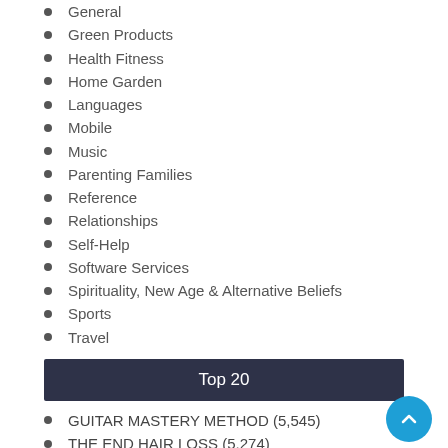General
Green Products
Health Fitness
Home Garden
Languages
Mobile
Music
Parenting Families
Reference
Relationships
Self-Help
Software Services
Spirituality, New Age & Alternative Beliefs
Sports
Travel
Top 20
GUITAR MASTERY METHOD (5,545)
THE END HAIR LOSS (5,274)
COLE'S CLASSROOM (5,139)
RH 360 (3,033)